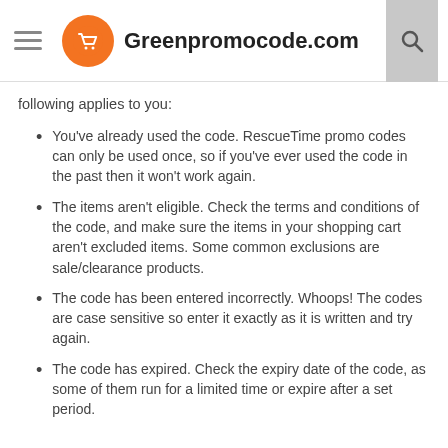Greenpromocode.com
following applies to you:
You've already used the code. RescueTime promo codes can only be used once, so if you've ever used the code in the past then it won't work again.
The items aren't eligible. Check the terms and conditions of the code, and make sure the items in your shopping cart aren't excluded items. Some common exclusions are sale/clearance products.
The code has been entered incorrectly. Whoops! The codes are case sensitive so enter it exactly as it is written and try again.
The code has expired. Check the expiry date of the code, as some of them run for a limited time or expire after a set period.